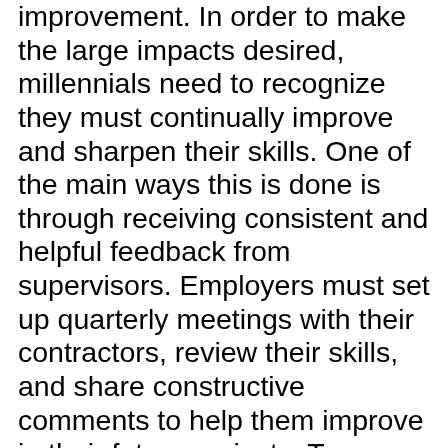improvement. In order to make the large impacts desired, millennials need to recognize they must continually improve and sharpen their skills. One of the main ways this is done is through receiving consistent and helpful feedback from supervisors. Employers must set up quarterly meetings with their contractors, review their skills, and share constructive comments to help them improve in their future projects. Too many times employers worry about hurting their employees' feelings and avoid constructive criticism, when in reality, clear and honest feedback can be the only way to jumpstart improvement. Giving frequent feedback also builds trust between employers and their workers, showing employees their supervisors truly care about their growth while also giving them clarity on where they can improve. Employees can then take this feedback and set clear objectives and goals for improvement, keeping them feeling challenged and inspired to continually improve. CLOSING THOUGHTThe millennial generation will change the workforce indefinitely as more enter the professional realm each and every year. It's on leaders throughout the contracting industry to prioritize investing in millennial employees — not just as workers, but as